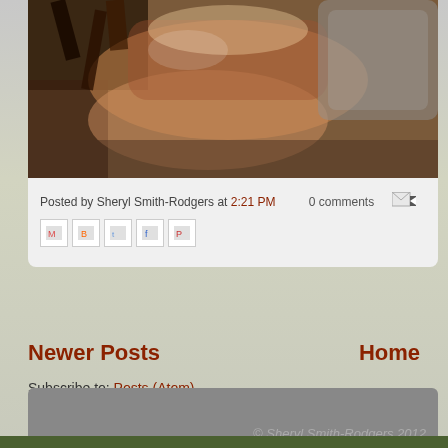[Figure (photo): Close-up photograph of tree bark or wood, showing rough brown and rust-colored textures with light and shadow]
Posted by Sheryl Smith-Rodgers at 2:21 PM   0 comments
[Figure (infographic): Social share icons: Gmail, Blogger, Twitter, Facebook, Pinterest]
Newer Posts
Home
Subscribe to: Posts (Atom)
© Sheryl Smith-Rodgers 2012